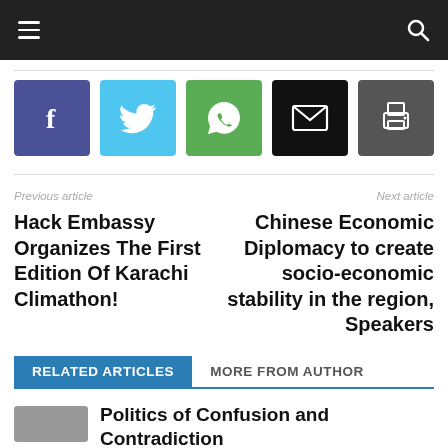Navigation bar with hamburger menu and search icon
[Figure (infographic): Social sharing buttons: Facebook, Twitter, WhatsApp, Email, Print]
Previous article
Next article
Hack Embassy Organizes The First Edition Of Karachi Climathon!
Chinese Economic Diplomacy to create socio-economic stability in the region, Speakers
RELATED ARTICLES
MORE FROM AUTHOR
Politics of Confusion and Contradiction